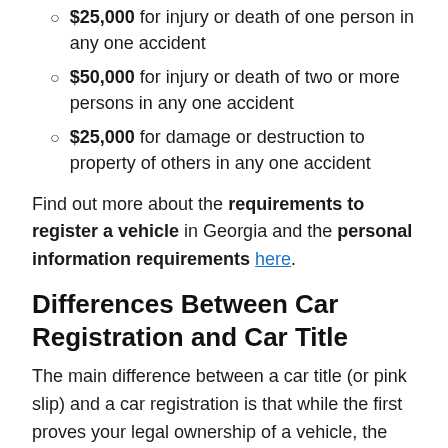$25,000 for injury or death of one person in any one accident
$50,000 for injury or death of two or more persons in any one accident
$25,000 for damage or destruction to property of others in any one accident
Find out more about the requirements to register a vehicle in Georgia and the personal information requirements here.
Differences Between Car Registration and Car Title
The main difference between a car title (or pink slip) and a car registration is that while the first proves your legal ownership of a vehicle, the second allows your vehicle to be driven on public roads. Both documents are mandatory in all 50 U.S. states.